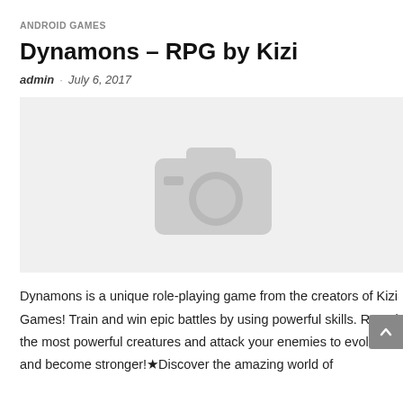ANDROID GAMES
Dynamons – RPG by Kizi
admin  •  July 6, 2017
[Figure (photo): Image placeholder showing a camera icon on a light gray background]
Dynamons is a unique role-playing game from the creators of Kizi Games! Train and win epic battles by using powerful skills. Recruit the most powerful creatures and attack your enemies to evolve and become stronger!★Discover the amazing world of